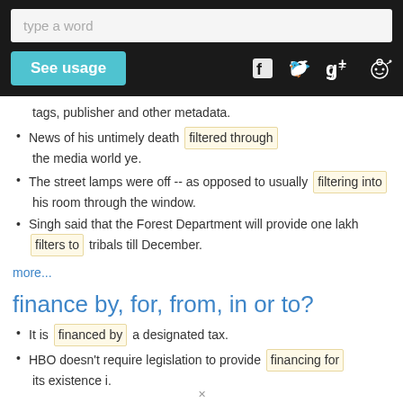[Figure (screenshot): Search bar UI with placeholder 'type a word', a cyan 'See usage' button, and social media icons (Facebook, Twitter, Google+, Reddit) on dark background]
tags, publisher and other metadata.
News of his untimely death filtered through the media world ye.
The street lamps were off -- as opposed to usually filtering into his room through the window.
Singh said that the Forest Department will provide one lakh filters to tribals till December.
more...
finance by, for, from, in or to?
It is financed by a designated tax.
HBO doesn't require legislation to provide financing for its existence i.